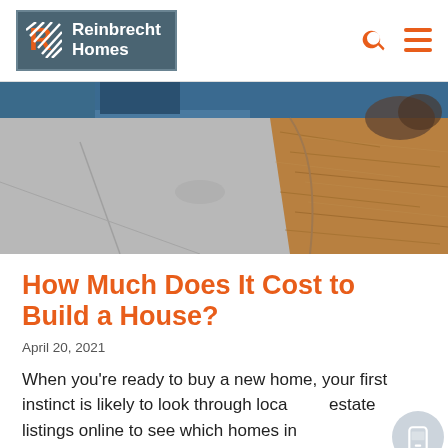Reinbrecht Homes
[Figure (photo): Aerial/ground view of a concrete driveway and pine straw mulch landscaping near a house]
How Much Does It Cost to Build a House?
April 20, 2021
When you're ready to buy a new home, your first instinct is likely to look through local estate listings online to see which homes in